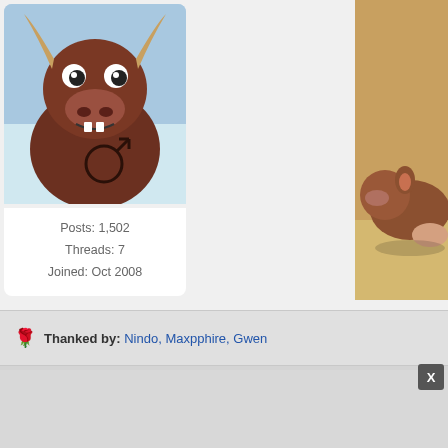[Figure (illustration): Cartoon bull/minotaur character avatar with brown fur and angry expression, on blue background]
Posts: 1,502
Threads: 7
Joined: Oct 2008
[Figure (illustration): Cartoon animal character lying on floor, right side of top post]
Thanked by: Nindo, Maxpphire, Gwen
Wes
Posting Freak
[Figure (illustration): Pixel art avatar of a blonde girl character]
01-25-2011, 04:59 PM
Yeah I
[Figure (screenshot): Video game screenshot with play button overlay, showing a first person shooter game scene]